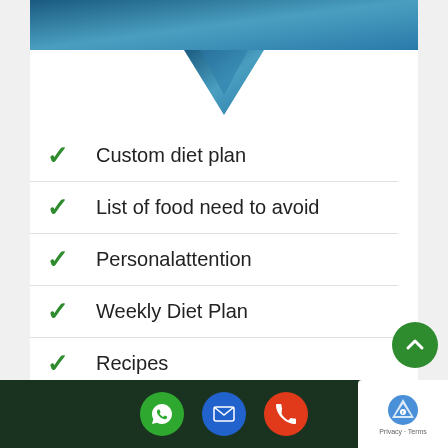[Figure (illustration): Blue gradient header banner with a downward-pointing triangle/arrow shape below it]
Custom diet plan
List of food need to avoid
Personalattention
Weekly Diet Plan
Recipes
Weekly Feedback
WhatsApp, Email, Phone contact buttons